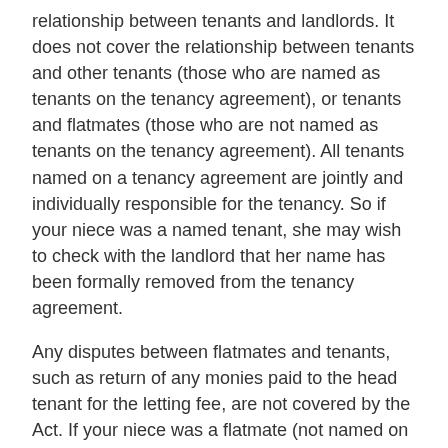relationship between tenants and landlords. It does not cover the relationship between tenants and other tenants (those who are named as tenants on the tenancy agreement), or tenants and flatmates (those who are not named as tenants on the tenancy agreement). All tenants named on a tenancy agreement are jointly and individually responsible for the tenancy. So if your niece was a named tenant, she may wish to check with the landlord that her name has been formally removed from the tenancy agreement.
Any disputes between flatmates and tenants, such as return of any monies paid to the head tenant for the letting fee, are not covered by the Act. If your niece was a flatmate (not named on the tenancy agreement) then she will need to seek independent advice from places such as a local community law centre, or the local Citizen's Advice Bureau regarding available options for resolution, which may include the Disputes Tribunal. For more on the rights and responsibilities of landlords and tenants, go to www.tenancy.govt.nz.